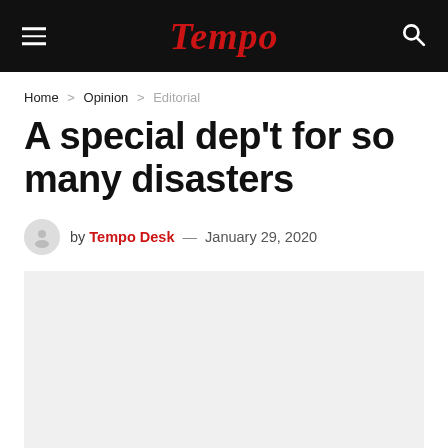Tempo
Home > Opinion > Editorial
A special dep't for so many disasters
by Tempo Desk — January 29, 2020
[Figure (photo): Gray placeholder image area below the byline]